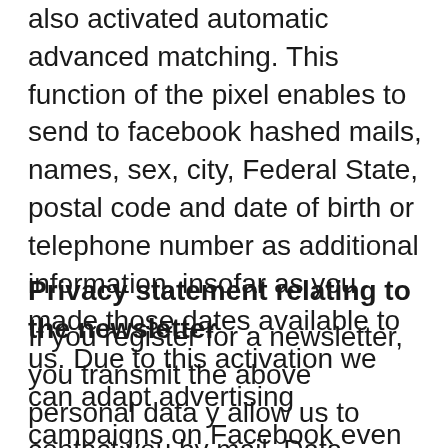also activated automatic advanced matching. This function of the pixel enables to send to facebook hashed mails, names, sex, city, Federal State, postal code and date of birth or telephone number as additional information, insofar as you made those dates available to us. Due to this activation we can adapt advertising campaigns on Facebook even better to people interested in our services or products.
Privacy statement relating to the newsletter
If you register for a newsletter, you transmit the above personal data y allow us to contact you by mail. Data stored when registering for a newsletter are used by us exclusive for the purpose of the newsletter and will not be passed on by us.